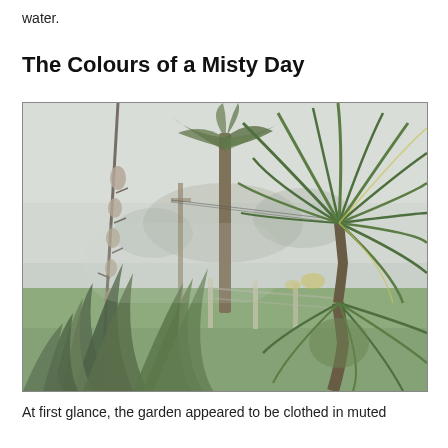water.
The Colours of a Misty Day
[Figure (photo): A misty garden scene with tropical plants including a large yucca or cabbage tree on the right with long green spiky leaves, a tall flax plant with a flowering spike on the left, and a palm tree visible through the fog in the background. A green lawn and foggy open countryside are visible behind the plants.]
At first glance, the garden appeared to be clothed in muted